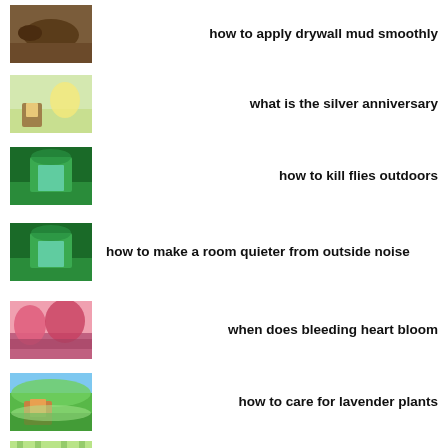how to apply drywall mud smoothly
what is the silver anniversary
how to kill flies outdoors
how to make a room quieter from outside noise
when does bleeding heart bloom
how to care for lavender plants
how to paint a rug and keep it soft